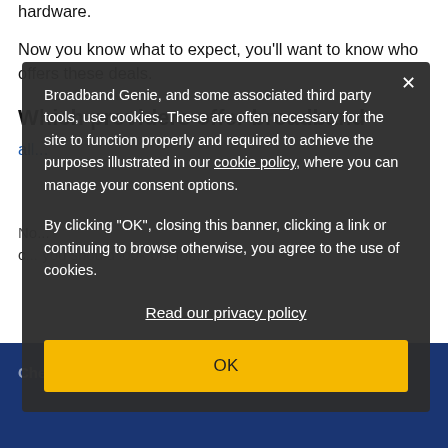hardware.
Now you know what to expect, you'll want to know who offers these deals.
Which providers offer broadband and...
All...
[Figure (screenshot): Cookie consent popup overlay with dark background. Contains cookie policy notice text, link to cookie policy, link to privacy policy, and OK button. Text reads: 'Broadband Genie, and some associated third party tools, use cookies. These are often necessary for the site to function properly and required to achieve the purposes illustrated in our cookie policy, where you can manage your consent options. By clicking "OK", closing this banner, clicking a link or continuing to browse otherwise, you agree to the use of cookies.' With links to 'Read our privacy policy' and an OK button.]